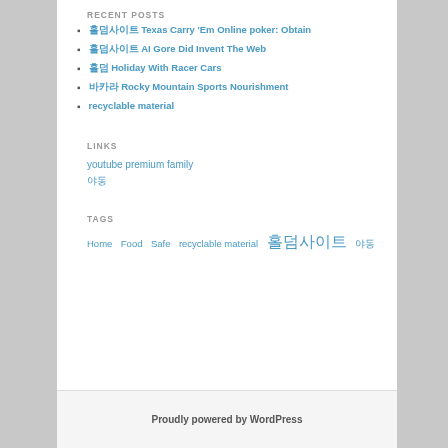RECENT POSTS
▪ 홀덤사이트 Texas Carry ‘Em Online poker: Obtain
▪ 홀덤사이트 AI Gore Did Invent The Web
▪ 홀덤 Holiday With Racer Cars
▪ 바카라 Rocky Mountain Sports Nourishment
▪ recyclable material
LINKS
youtube premium family
야동
TAGS
Home Food Safe recyclable material 홀덤사이트 야동
Proudly powered by WordPress